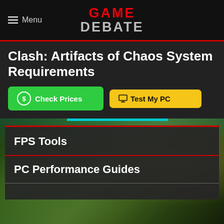Menu | GAME DEBATE
Clash: Artifacts of Chaos System Requirements
Check Prices | Test My PC
[Figure (screenshot): Game screenshot background showing jungle/nature scene with character, overlaid with dark panel containing FPS Tools and PC Performance Guides menu items]
FPS Tools
PC Performance Guides
8th July 2022 - Specs reviewed